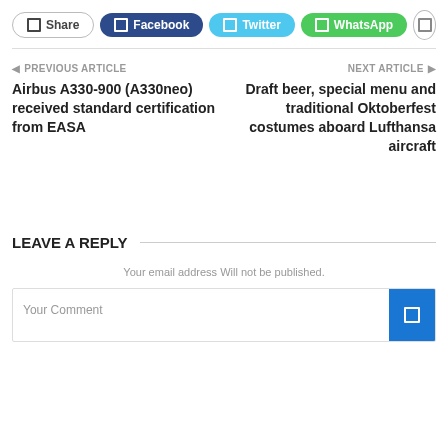[Figure (screenshot): Social share buttons row: Share, Facebook (dark blue), Twitter (light blue), WhatsApp (green), and a circular more button]
PREVIOUS ARTICLE
Airbus A330-900 (A330neo) received standard certification from EASA
NEXT ARTICLE
Draft beer, special menu and traditional Oktoberfest costumes aboard Lufthansa aircraft
LEAVE A REPLY
Your email address Will not be published.
Your Comment